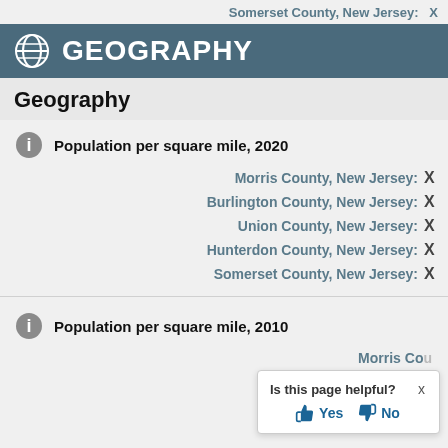Somerset County, New Jersey:  X
GEOGRAPHY
Geography
Population per square mile, 2020
Morris County, New Jersey:  X
Burlington County, New Jersey:  X
Union County, New Jersey:  X
Hunterdon County, New Jersey:  X
Somerset County, New Jersey:  X
Population per square mile, 2010
Morris County, New Jersey:
Burlington County, New Jersey:
Is this page helpful? Yes  No